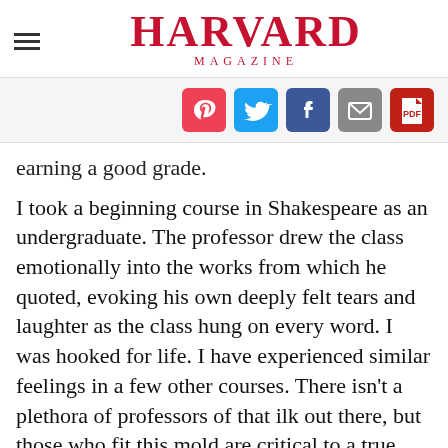HARVARD MAGAZINE
[Figure (infographic): Social sharing icons: Pocket (red), Twitter (blue), Facebook (dark blue), Email (grey), PDF (red)]
earning a good grade.
I took a beginning course in Shakespeare as an undergraduate. The professor drew the class emotionally into the works from which he quoted, evoking his own deeply felt tears and laughter as the class hung on every word. I was hooked for life. I have experienced similar feelings in a few other courses. There isn't a plethora of professors of that ilk out there, but those who fit this mold are critical to a true university education and its sequel: a lifetime of intellectual stimulation.